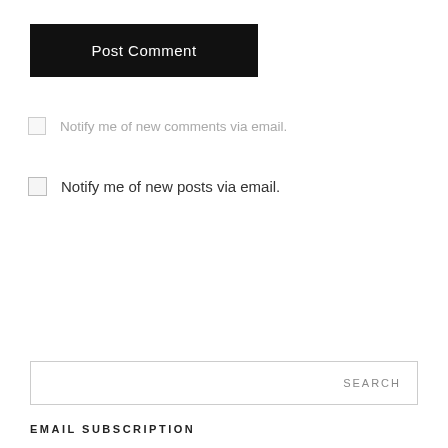Post Comment
Notify me of new comments via email.
Notify me of new posts via email.
SEARCH
EMAIL SUBSCRIPTION